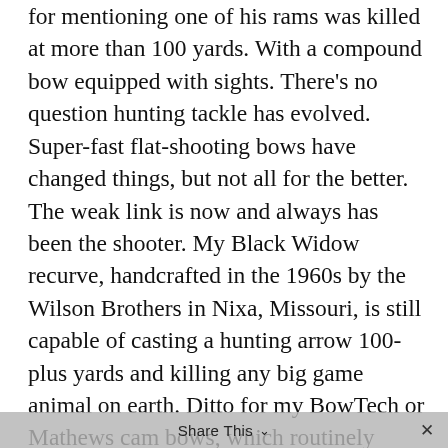for mentioning one of his rams was killed at more than 100 yards. With a compound bow equipped with sights. There's no question hunting tackle has evolved. Super-fast flat-shooting bows have changed things, but not all for the better. The weak link is now and always has been the shooter. My Black Widow recurve, handcrafted in the 1960s by the Wilson Brothers in Nixa, Missouri, is still capable of casting a hunting arrow 100-plus yards and killing any big game animal on earth. Ditto for my BowTech or Mathews cam bows, which routinely deliver my arrows to the target quicker. But in each instance the key is hitting exactly where a shaving-sharp broadhead inflicts the damage necessary for a quick, clean kill.
Share This ∨  ×